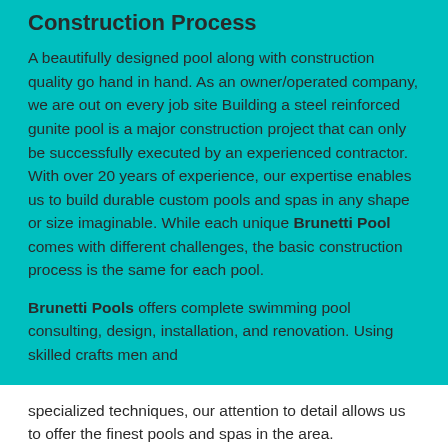Construction Process
A beautifully designed pool along with construction quality go hand in hand. As an owner/operated company, we are out on every job site Building a steel reinforced gunite pool is a major construction project that can only be successfully executed by an experienced contractor. With over 20 years of experience, our expertise enables us to build durable custom pools and spas in any shape or size imaginable. While each unique Brunetti Pool comes with different challenges, the basic construction process is the same for each pool.
Brunetti Pools offers complete swimming pool consulting, design, installation, and renovation. Using skilled crafts men and specialized techniques, our attention to detail allows us to offer the finest pools and spas in the area.
From your initial consultation, to design, construction and project management, Brunetti Pools is completely committed to making your pool building experience stress-free and easy. Once you determine your pool needs and budget, we begin your installation process by working together with you to design the swimming pool that fits your space, your needs, and budget. The